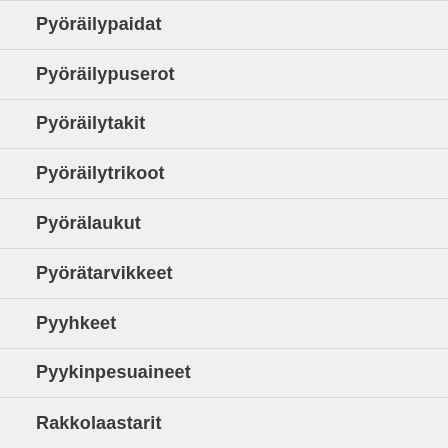Pyöräilypaidat
Pyöräilypuserot
Pyöräilytakit
Pyöräilytrikoot
Pyörälaukut
Pyörätarvikkeet
Pyyhkeet
Pyykinpesuaineet
Rakkolaastarit